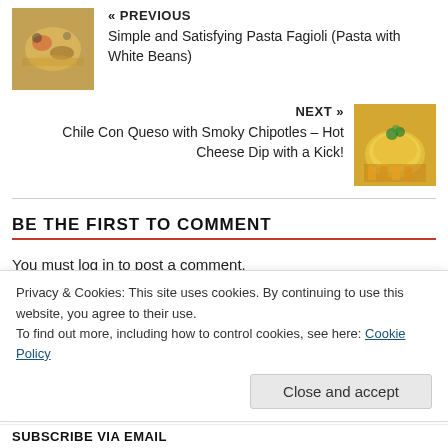[Figure (photo): Thumbnail image of pasta fagioli dish]
« PREVIOUS
Simple and Satisfying Pasta Fagioli (Pasta with White Beans)
NEXT »
Chile Con Queso with Smoky Chipotles – Hot Cheese Dip with a Kick!
[Figure (photo): Thumbnail image of chile con queso soup dish]
BE THE FIRST TO COMMENT
You must log in to post a comment.
SEARCH
Privacy & Cookies: This site uses cookies. By continuing to use this website, you agree to their use.
To find out more, including how to control cookies, see here: Cookie Policy
Close and accept
SUBSCRIBE VIA EMAIL